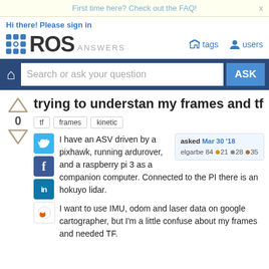First time here? Check out the FAQ!
Hi there! Please sign in
[Figure (logo): ROS Answers logo with grid dots and navigation links for tags and users]
[Figure (screenshot): Search bar with home icon, search input, and ASK button on dark blue background]
trying to understan my frames and tf
tf
frames
kinetic
I have an ASV driven by a pixhawk, running ardurover, and a raspberry pi 3 as a companion computer. Connected to the PI there is an hokuyo lidar.
I want to use IMU, odom and laser data on google cartographer, but I'm a little confuse about my frames and needed TF.